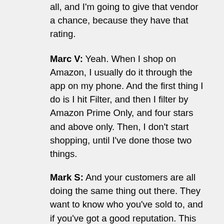all, and I'm going to give that vendor a chance, because they have that rating.
Marc V: Yeah. When I shop on Amazon, I usually do it through the app on my phone. And the first thing I do is I hit Filter, and then I filter by Amazon Prime Only, and four stars and above only. Then, I don't start shopping, until I've done those two things.
Mark S: And your customers are all doing the same thing out there. They want to know who you've sold to, and if you've got a good reputation. This is how you do it.
Marc V: Yep. On our website, one of the big things – I think there was a moment – we've done reviews for years. There's hundreds and hundreds of reviews on our website,